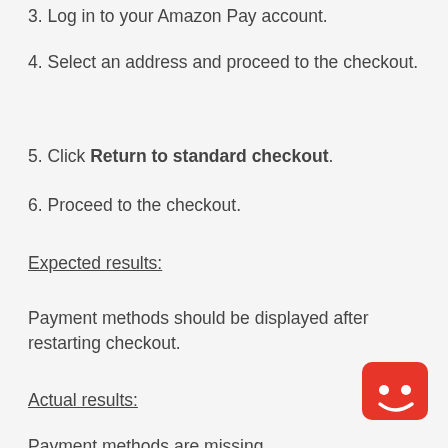3. Log in to your Amazon Pay account.
4. Select an address and proceed to the checkout.
5. Click Return to standard checkout.
6. Proceed to the checkout.
Expected results:
Payment methods should be displayed after restarting checkout.
Actual results:
Payment methods are missing.
Solution
A resolution is planned for 2.41